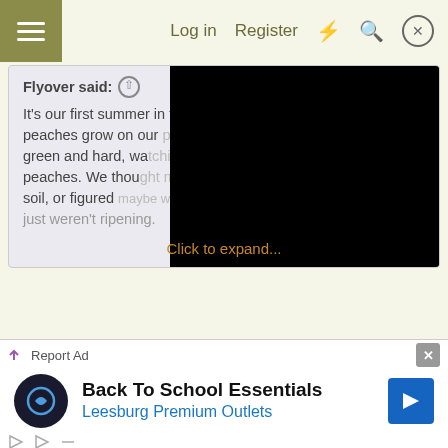Log in  Register
Flyover said: ↑
It's our first summer in this house watching peaches grow on our yard. Fuzzy green and hard, was looking like peaches. We thought wrong with the soil, or figured maybe we all unknown breed or something. They just weren't ripening.
Click to expand...
When we first moved into our house in NJ, there was a small overgrown slope just about 25 feet from our back door. I went ou there one day and started to clear that area. There was a small tree, maybe about ten feet long growing sideways because of all the vines holding it down. I lopped it off about three feet from the base
Report Ad
Back To School Essentials
Leesburg Premium Outlets